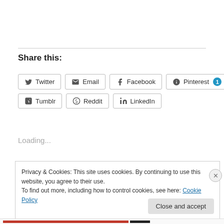Share this:
[Figure (screenshot): Social share buttons: Twitter, Email, Facebook, Pinterest (with badge 1), Tumblr, Reddit, LinkedIn]
Loading...
Privacy & Cookies: This site uses cookies. By continuing to use this website, you agree to their use. To find out more, including how to control cookies, see here: Cookie Policy
Close and accept